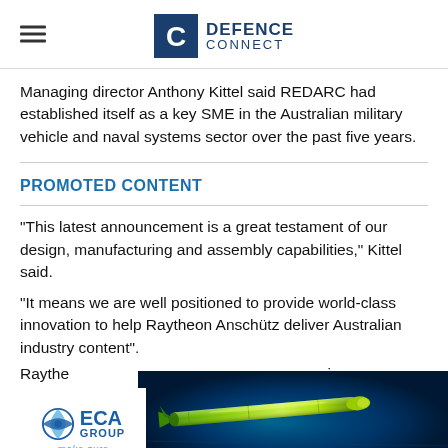DEFENCE CONNECT
Managing director Anthony Kittel said REDARC had established itself as a key SME in the Australian military vehicle and naval systems sector over the past five years.
PROMOTED CONTENT
"This latest announcement is a great testament of our design, manufacturing and assembly capabilities," Kittel said.
"It means we are well positioned to provide world-class innovation to help Raytheon Anschütz deliver Australian industry content".
Raytheon is a global player in the naval navigation and C2 domains,
[Figure (logo): ECA GROUP make sure logo - blue text with globe icon]
[Figure (photo): Underwater torpedo/UUV vehicle on dark blue ocean background]